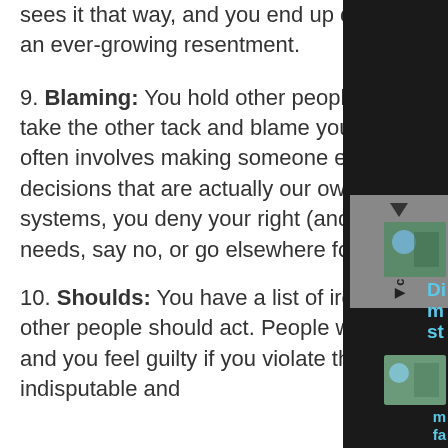sees it that way, and you end up causing yourself a lot of pain and an ever-growing resentment.
9. Blaming: You hold other people responsible for your pain, or take the other tack and blame yourself for every problem. Blaming often involves making someone else responsible for choices and decisions that are actually our own responsibility. In blame systems, you deny your right (and responsibility) to assert your needs, say no, or go elsewhere for what you want.
10. Shoulds: You have a list of ironclad rules about how you and other people should act. People who break the rules anger you, and you feel guilty if you violate the rules. The rules are right and indisputable and